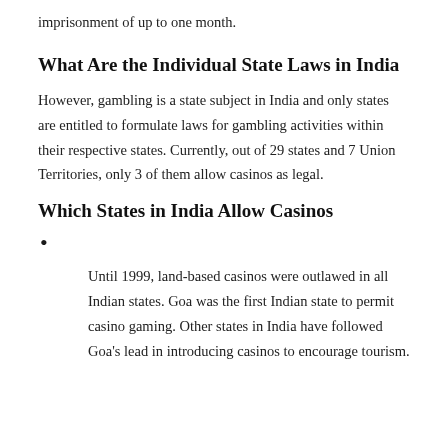imprisonment of up to one month.
What Are the Individual State Laws in India
However, gambling is a state subject in India and only states are entitled to formulate laws for gambling activities within their respective states. Currently, out of 29 states and 7 Union Territories, only 3 of them allow casinos as legal.
Which States in India Allow Casinos
Until 1999, land-based casinos were outlawed in all Indian states. Goa was the first Indian state to permit casino gaming. Other states in India have followed Goa's lead in introducing casinos to encourage tourism.